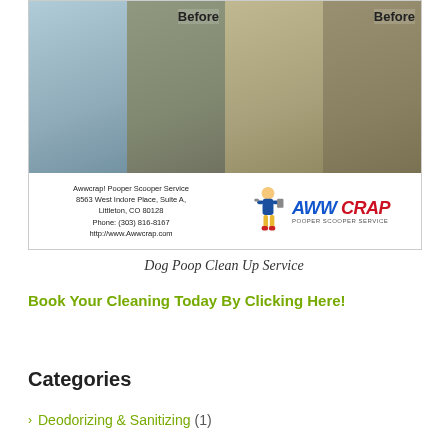[Figure (photo): Before and after dog yard cleanup photos showing two sets of before images of a rocky/gravel yard with dog waste, labeled 'Before'. Business card footer with Awwcrap! Pooper Scooper Service logo and contact info.]
Dog Poop Clean Up Service
Book Your Cleaning Today By Clicking Here!
Categories
Deodorizing & Sanitizing (1)